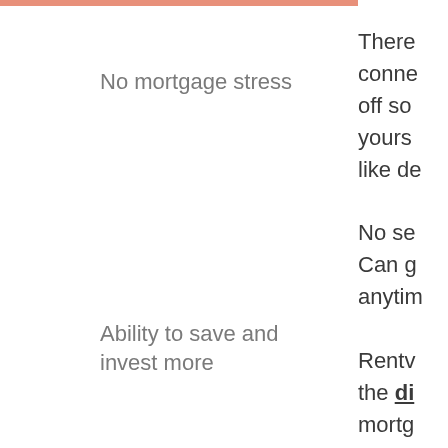No mortgage stress
Ability to save and invest more
Exposure to the property market sooner
There conne off so yours like de No se Can g anytim Rentv the di mortg force mech relie